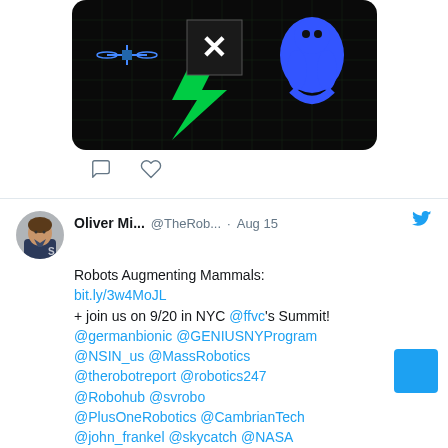[Figure (illustration): Dark background illustration with a blue gorilla figure, a drone, and green lightning bolt / X logo elements on a dark grid. Shown as a cropped tweet image card with rounded corners.]
[Figure (illustration): Comment bubble icon (outline SVG)]
[Figure (illustration): Heart / like icon (outline SVG)]
Oliver Mi... @TheRob... · Aug 15
Robots Augmenting Mammals:
bit.ly/3w4MoJL
+ join us on 9/20 in NYC @ffvc's Summit!
@germanbionic @GENIUSNYProgram @NSIN_us @MassRobotics @therobotreport @robotics247 @Robohub @svrobo @PlusOneRobotics @CambrianTech @john_frankel @skycatch @NASA @theNYVC @AlleyWatch #robot
[Figure (photo): Bottom partial image of a dark scene, cropped at bottom of page.]